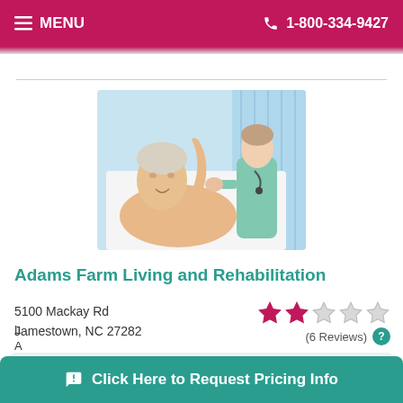MENU   1-800-334-9427
[Figure (photo): Elderly female patient lying in bed raising her hand, with a nurse in teal scrubs assisting her arm movement in a clinical setting.]
Adams Farm Living and Rehabilitation
5100 Mackay Rd
Jamestown, NC 27282
(6 Reviews)
1-855-229-7494
Click Here to Request Pricing Info